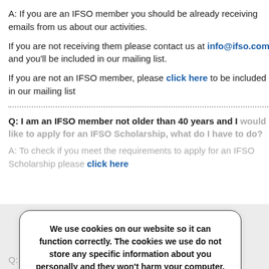A: If you are an IFSO member you should be already receiving emails from us about our activities.
If you are not receiving them please contact us at info@ifso.com and you'll be included in our mailing list.
If you are not an IFSO member, please click here to be included in our mailing list
Q: I am an IFSO member not older than 40 years and I would like to apply for an IFSO Scholarship, what do I have to do?
A: To check if you meet the requirements to apply for an IFSO Scholarship please click here
We use cookies on our website so it can function correctly. The cookies we use do not store any specific information about you personally and they won't harm your computer. See our privacy policy for more information.
Accept
Q: I am an IFSO member under 45 and would like...